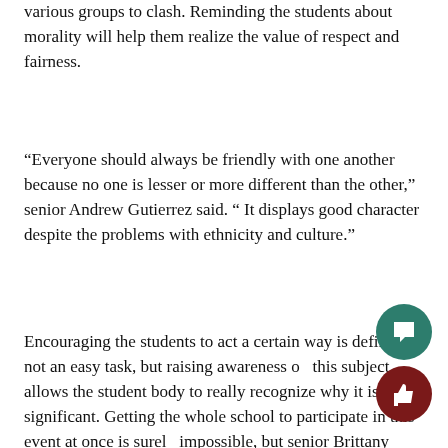various groups to clash. Reminding the students about morality will help them realize the value of respect and fairness.
“Everyone should always be friendly with one another because no one is lesser or more different than the other,” senior Andrew Gutierrez said. “ It displays good character despite the problems with ethnicity and culture.”
Encouraging the students to act a certain way is definitely not an easy task, but raising awareness on this subject allows the student body to really recognize why it is significant. Getting the whole school to participate in this event at once is surely impossible, but senior Brittany Alarcon believes that